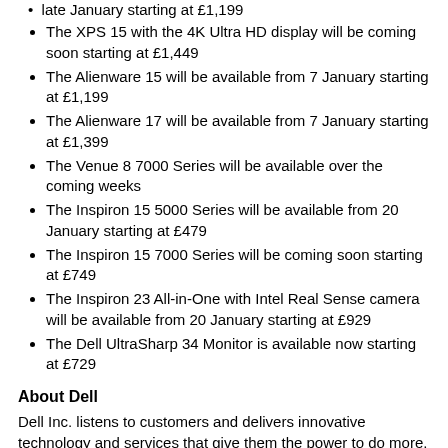late January starting at £1,199
The XPS 15 with the 4K Ultra HD display will be coming soon starting at £1,449
The Alienware 15 will be available from 7 January starting at £1,199
The Alienware 17 will be available from 7 January starting at £1,399
The Venue 8 7000 Series will be available over the coming weeks
The Inspiron 15 5000 Series will be available from 20 January starting at £479
The Inspiron 15 7000 Series will be coming soon starting at £749
The Inspiron 23 All-in-One with Intel Real Sense camera will be available from 20 January starting at £929
The Dell UltraSharp 34 Monitor is available now starting at £729
About Dell
Dell Inc. listens to customers and delivers innovative technology and services that give them the power to do more. For more information, visit www.dell.co.uk.